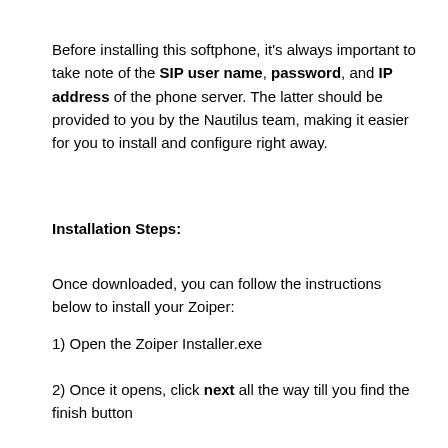Before installing this softphone, it's always important to take note of the SIP user name, password, and IP address of the phone server. The latter should be provided to you by the Nautilus team, making it easier for you to install and configure right away.
Installation Steps:
Once downloaded, you can follow the instructions below to install your Zoiper:
1) Open the Zoiper Installer.exe
2) Once it opens, click next all the way till you find the finish button